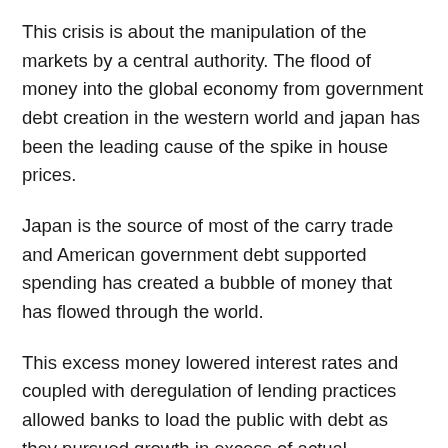This crisis is about the manipulation of the markets by a central authority. The flood of money into the global economy from government debt creation in the western world and japan has been the leading cause of the spike in house prices.
Japan is the source of most of the carry trade and American government debt supported spending has created a bubble of money that has flowed through the world.
This excess money lowered interest rates and coupled with deregulation of lending practices allowed banks to load the public with debt as they pursued growth in excess of actual economic growth. Everyone was happy with the